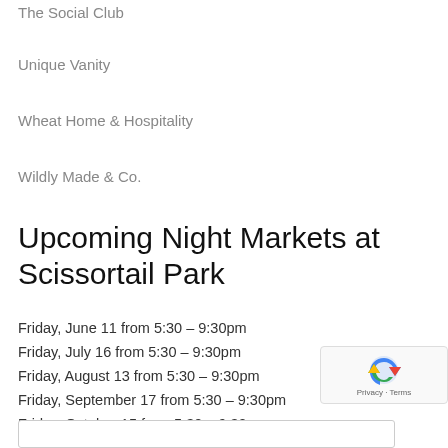The Social Club
Unique Vanity
Wheat Home & Hospitality
Wildly Made & Co.
Upcoming Night Markets at Scissortail Park
Friday, June 11 from 5:30 – 9:30pm
Friday, July 16 from 5:30 – 9:30pm
Friday, August 13 from 5:30 – 9:30pm
Friday, September 17 from 5:30 – 9:30pm
Friday, October 15 from 5:30 – 9:30pm